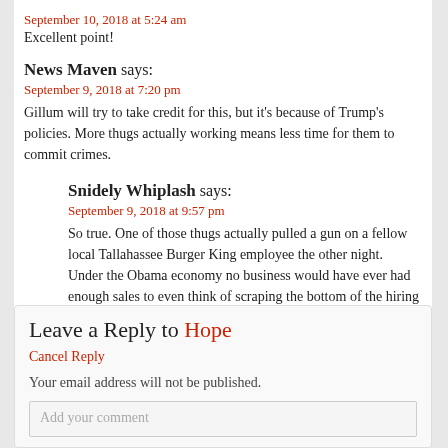September 10, 2018 at 5:24 am
Excellent point!
News Maven says:
September 9, 2018 at 7:20 pm
Gillum will try to take credit for this, but it's because of Trump's policies. More thugs actually working means less time for them to commit crimes.
Snidely Whiplash says:
September 9, 2018 at 9:57 pm
So true. One of those thugs actually pulled a gun on a fellow local Tallahassee Burger King employee the other night.
Under the Obama economy no business would have ever had enough sales to even think of scraping the bottom of the hiring barrel to consider hiring a clown @zz thick dread lock headed “hello I’m a weed dealer” employee like him.
You know it’s true.
Leave a Reply to Hope
Cancel Reply
Your email address will not be published.
Add your comment